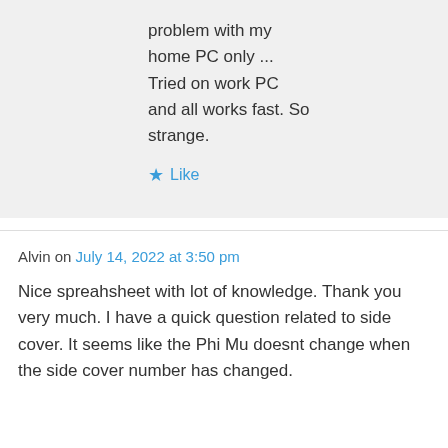problem with my home PC only ... Tried on work PC and all works fast. So strange.
★ Like
Alvin on July 14, 2022 at 3:50 pm
Nice spreahsheet with lot of knowledge. Thank you very much. I have a quick question related to side cover. It seems like the Phi Mu doesnt change when the side cover number has changed.